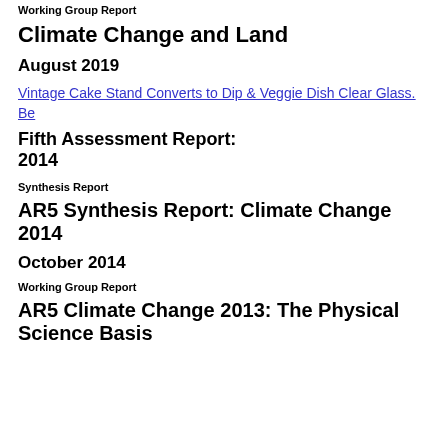Working Group Report
Climate Change and Land
August 2019
Vintage Cake Stand Converts to Dip & Veggie Dish Clear Glass. Be
Fifth Assessment Report:
2014
Synthesis Report
AR5 Synthesis Report: Climate Change 2014
October 2014
Working Group Report
AR5 Climate Change 2013: The Physical Science Basis